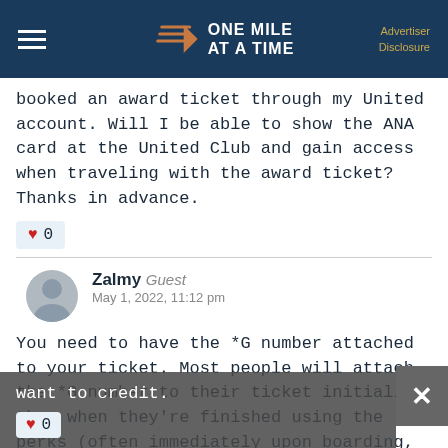ONE MILE AT A TIME | Advertiser Disclosure
booked an award ticket through my United account. Will I be able to show the ANA card at the United Club and gain access when traveling with the award ticket? Thanks in advance.
Zalmy Guest
May 1, 2022, 11:12 pm
You need to have the *G number attached to your ticket. Most people will attach the *G number to their ticket initially, then when they're finished using the perks (often immediately upon boarding, before takeoff) switch to the FF program they want to credit.